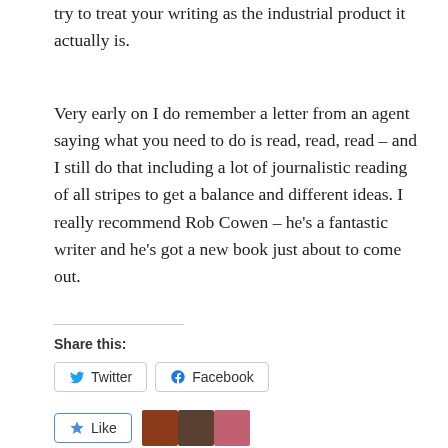try to treat your writing as the industrial product it actually is.
Very early on I do remember a letter from an agent saying what you need to do is read, read, read – and I still do that including a lot of journalistic reading of all stripes to get a balance and different ideas. I really recommend Rob Cowen – he's a fantastic writer and he's got a new book just about to come out.
Share this: